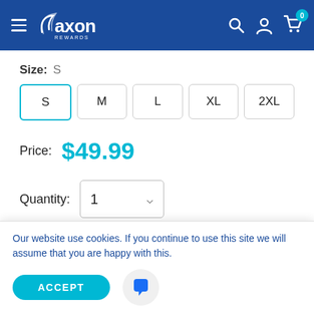Axon Rewards - navigation header with hamburger menu, logo, search, account, and cart icons (0 items)
Size: S
S  M  L  XL  2XL
Price: $49.99
Quantity: 1
Our website use cookies. If you continue to use this site we will assume that you are happy with this.
ACCEPT